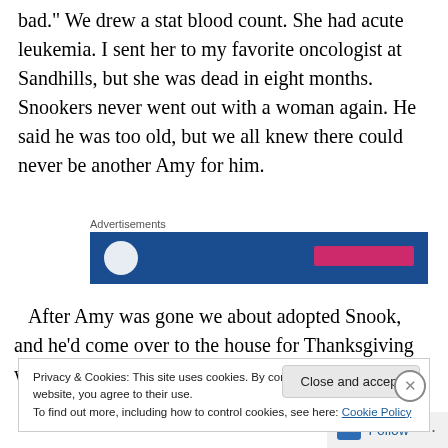bad." We drew a stat blood count. She had acute leukemia. I sent her to my favorite oncologist at Sandhills, but she was dead in eight months. Snookers never went out with a woman again. He said he was too old, but we all knew there could never be another Amy for him.
Advertisements
[Figure (other): Advertisement banner with dark blue background, white circle logo on left, and pink/magenta bar on right]
After Amy was gone we about adopted Snook, and he'd come over to the house for Thanksgiving when he
Privacy & Cookies: This site uses cookies. By continuing to use this website, you agree to their use.
To find out more, including how to control cookies, see here: Cookie Policy
Close and accept
Follow